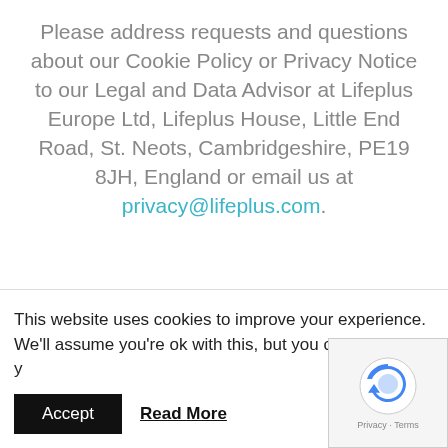Please address requests and questions about our Cookie Policy or Privacy Notice to our Legal and Data Advisor at Lifeplus Europe Ltd, Lifeplus House, Little End Road, St. Neots, Cambridgeshire, PE19 8JH, England or email us at privacy@lifeplus.com.
This website uses cookies to improve your experience. We'll assume you're ok with this, but you can opt-out if you wish.